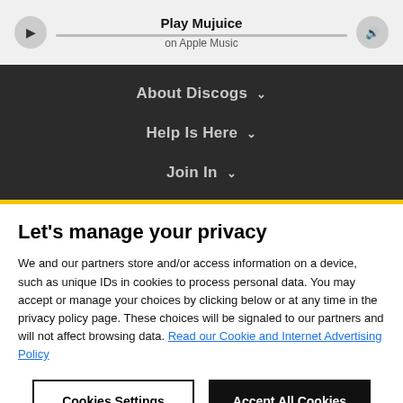[Figure (screenshot): Media player bar showing play button, 'Play Mujuice on Apple Music' text with progress bar, and volume button]
Play Mujuice
on Apple Music
About Discogs ˅
Help Is Here ˅
Join In ˅
Let's manage your privacy
We and our partners store and/or access information on a device, such as unique IDs in cookies to process personal data. You may accept or manage your choices by clicking below or at any time in the privacy policy page. These choices will be signaled to our partners and will not affect browsing data. Read our Cookie and Internet Advertising Policy
Cookies Settings
Accept All Cookies